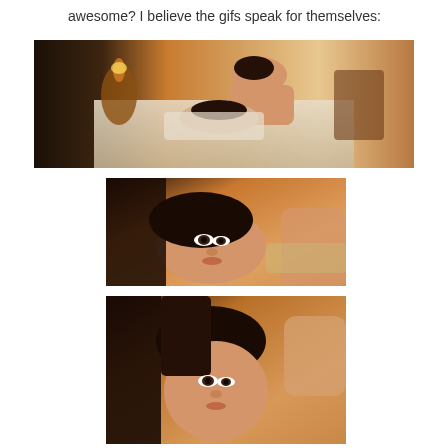awesome? I believe the gifs speak for themselves:
[Figure (photo): A shirtless young man leaning over a woman lying in bed; warm amber lighting; bedroom setting with candle and wooden furniture]
[Figure (photo): Close-up of a young East Asian person lying down looking upward, warm golden tones]
[Figure (photo): Close-up of a young East Asian person's face from a similar angle, warm golden tones]